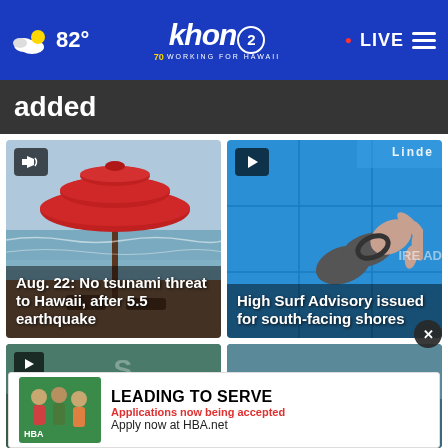82° | khon2 WORKING FOR HAWAII | • LIVE
added
[Figure (screenshot): Video thumbnail of beach with large red umbrella and ocean in background. Overlay text: Aug. 22: No tsunami threat to Hawaii, after 5.5 earthquake]
[Figure (screenshot): Video thumbnail of person pointing at blue weather screen with grid. Overlay text: High Surf Advisory issued for south-facing shores]
[Figure (screenshot): Partial video thumbnail (bottom row left), partially obscured by advertisement banner]
[Figure (screenshot): Partial video thumbnail (bottom row right), partially obscured by advertisement banner]
[Figure (infographic): Advertisement banner: image of people with HBA logo. Text: LEADING TO SERVE, Applications now being accepted, Apply now at HBA.net]